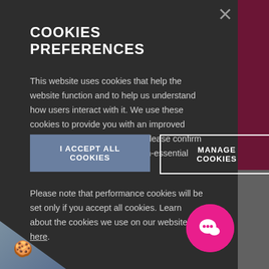COOKIES PREFERENCES
This website uses cookies that help the website function and to help us understand how users interact with it. We use these cookies to provide you with an improved customised user-experience. Please confirm if you consent to the use of non-essential cookies on this website.
Please note that performance cookies will be set only if you accept all cookies. Learn about the cookies we use on our website here.
I ACCEPT ALL COOKIES
MANAGE COOKIES